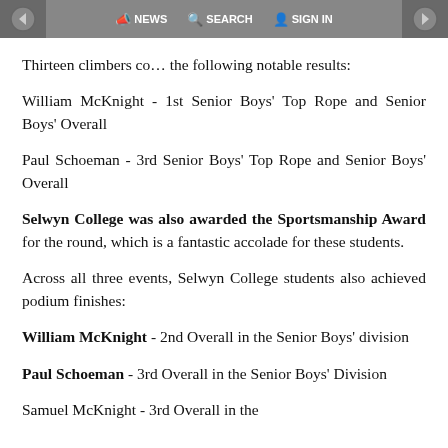NEWS  SEARCH  SIGN IN
Thirteen climbers co… the following notable results:
William McKnight - 1st Senior Boys' Top Rope and Senior Boys' Overall
Paul Schoeman - 3rd Senior Boys' Top Rope and Senior Boys' Overall
Selwyn College was also awarded the Sportsmanship Award for the round, which is a fantastic accolade for these students.
Across all three events, Selwyn College students also achieved podium finishes:
William McKnight - 2nd Overall in the Senior Boys' division
Paul Schoeman - 3rd Overall in the Senior Boys' Division
Samuel McKnight - 3rd Overall in the